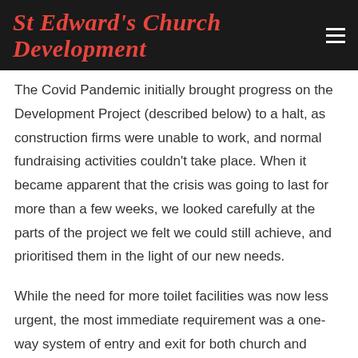St Edward's Church Development
The Covid Pandemic initially brought progress on the Development Project (described below) to a halt, as construction firms were unable to work, and normal fundraising activities couldn't take place. When it became apparent that the crisis was going to last for more than a few weeks, we looked carefully at the parts of the project we felt we could still achieve, and prioritised them in the light of our new needs.
While the need for more toilet facilities was now less urgent, the most immediate requirement was a one-way system of entry and exit for both church and community